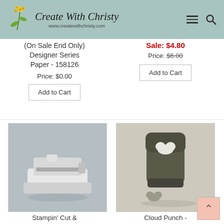Create With Christy — www.createwithchristy.com
(On Sale End Only) Designer Series Paper - 158126
Price: $0.00
Add to Cart
Sale: $4.80
Price: $6.00
Add to Cart
[Figure (photo): Stampin' Cut & Emboss Machine product photo on grey background]
Stampin' Cut & Emboss Machine - 149653
Price: $125.00
[Figure (photo): Cloud Punch - 157749 product photo showing dark olive-colored punch with cloud cutout]
Cloud Punch - 157749
Price: $19.00
Add to Cart